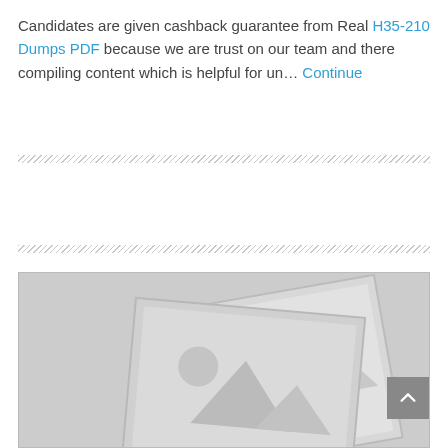Candidates are given cashback guarantee from Real H35-210 Dumps PDF because we are trust on our team and there compiling content which is helpful for un… Continue
[Figure (illustration): Placeholder image graphic showing two overlapping image icons (stacked photo placeholders with mountain and circle symbols) on a gray background]